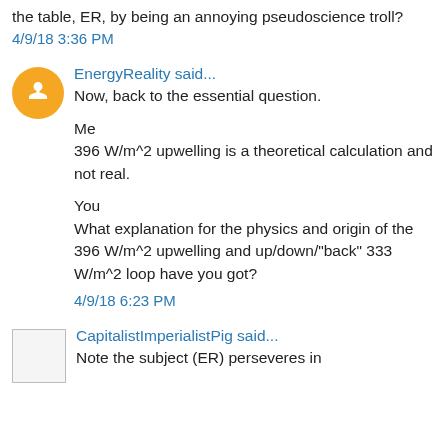the table, ER, by being an annoying pseudoscience troll?
4/9/18  3:36  PM
EnergyReality said...
Now, back to the essential question.

Me
396 W/m^2 upwelling is a theoretical calculation and not real.

You
What explanation for the physics and origin of the 396 W/m^2 upwelling and up/down/"back" 333 W/m^2 loop have you got?
4/9/18  6:23  PM
CapitalistImperialistPig said...
Note the subject (ER) perseveres in